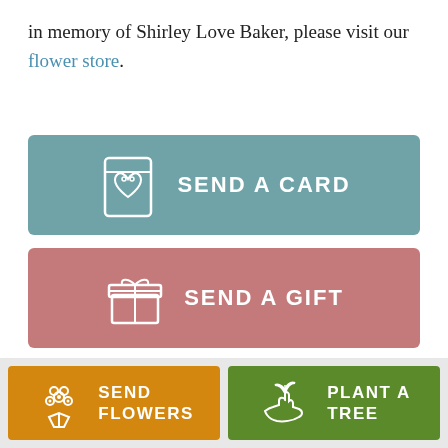in memory of Shirley Love Baker, please visit our flower store.
[Figure (other): Teal button with card icon: SEND A CARD]
[Figure (other): Rose/pink button with gift box icon: SEND A GIFT]
Service Schedule
[Figure (other): Orange button with flower bouquet icon: SEND FLOWERS]
[Figure (other): Green button with plant/tree icon: PLANT A TREE]